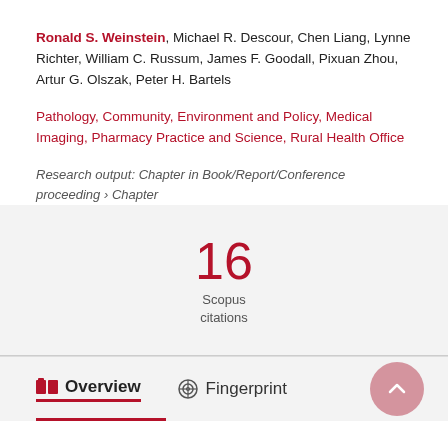Ronald S. Weinstein, Michael R. Descour, Chen Liang, Lynne Richter, William C. Russum, James F. Goodall, Pixuan Zhou, Artur G. Olszak, Peter H. Bartels
Pathology, Community, Environment and Policy, Medical Imaging, Pharmacy Practice and Science, Rural Health Office
Research output: Chapter in Book/Report/Conference proceeding › Chapter
16 Scopus citations
Overview  Fingerprint